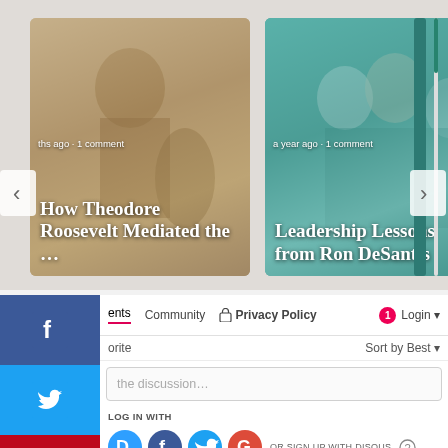[Figure (screenshot): Article card 1: sepia-toned illustration of Theodore Roosevelt in costume with text overlay 'ths ago · 1 comment' and title 'How Theodore Roosevelt Mediated the ...']
[Figure (screenshot): Article card 2: teal-colored illustration of colonial-era figures with text overlay 'a year ago · 1 comment' and title 'Leadership Lessons from Ron DeSantis']
[Figure (screenshot): Social media share sidebar with Facebook, Twitter, and Pinterest buttons on the left. Disqus comment section with navigation tabs (Comments, Community, Privacy Policy, Login), sort options, discussion input box, log in with Disqus/Facebook/Twitter/Google icons, and Name input field.]